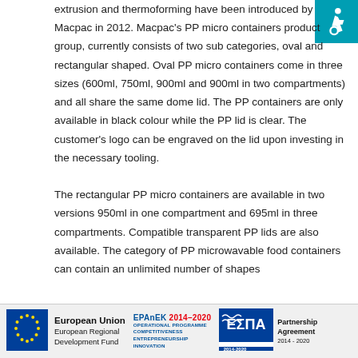extrusion and thermoforming have been introduced by Macpac in 2012. Macpac's PP micro containers product group, currently consists of two sub categories, oval and rectangular shaped. Oval PP micro containers come in three sizes (600ml, 750ml, 900ml and 900ml in two compartments) and all share the same dome lid. The PP containers are only available in black colour while the PP lid is clear. The customer's logo can be engraved on the lid upon investing in the necessary tooling.

The rectangular PP micro containers are available in two versions 950ml in one compartment and 695ml in three compartments. Compatible transparent PP lids are also available. The category of PP microwavable food containers can contain an unlimited number of shapes
[Figure (logo): Disability/accessibility icon: white wheelchair symbol on teal background]
[Figure (logo): Footer with European Union logo (circle of stars), EPAnEK 2014-2020 Operational Programme logo, and ESPA 2014-2020 Partnership Agreement logo]